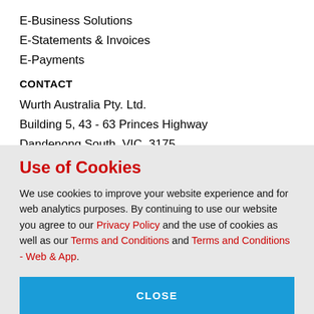E-Business Solutions
E-Statements & Invoices
E-Payments
CONTACT
Wurth Australia Pty. Ltd.
Building 5, 43 - 63 Princes Highway
Dandenong South, VIC, 3175
📞 1300 65 77 65
🖨 1800 03 23 96
Use of Cookies
We use cookies to improve your website experience and for web analytics purposes. By continuing to use our website you agree to our Privacy Policy and the use of cookies as well as our Terms and Conditions and Terms and Conditions - Web & App.
CLOSE